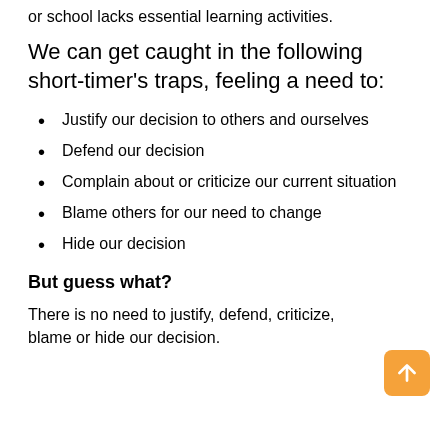or school lacks essential learning activities.
We can get caught in the following short-timer's traps, feeling a need to:
Justify our decision to others and ourselves
Defend our decision
Complain about or criticize our current situation
Blame others for our need to change
Hide our decision
But guess what?
There is no need to justify, defend, criticize, blame or hide our decision.